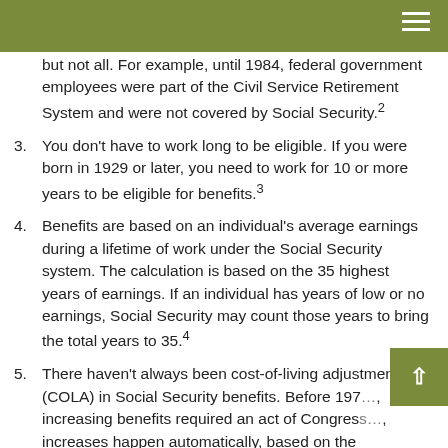but not all. For example, until 1984, federal government employees were part of the Civil Service Retirement System and were not covered by Social Security.²
3. You don't have to work long to be eligible. If you were born in 1929 or later, you need to work for 10 or more years to be eligible for benefits.³
4. Benefits are based on an individual's average earnings during a lifetime of work under the Social Security system. The calculation is based on the 35 highest years of earnings. If an individual has years of low or no earnings, Social Security may count those years to bring the total years to 35.⁴
5. There haven't always been cost-of-living adjustments (COLA) in Social Security benefits. Before 197…, increasing benefits required an act of Congress…, increases happen automatically, based on the Consumer Price Index. There was a COLA increase…